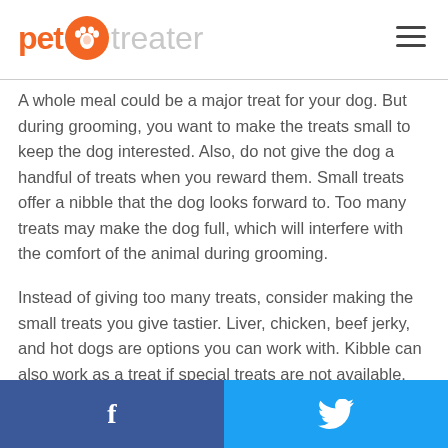pet treater
A whole meal could be a major treat for your dog. But during grooming, you want to make the treats small to keep the dog interested. Also, do not give the dog a handful of treats when you reward them. Small treats offer a nibble that the dog looks forward to. Too many treats may make the dog full, which will interfere with the comfort of the animal during grooming.
Instead of giving too many treats, consider making the small treats you give tastier. Liver, chicken, beef jerky, and hot dogs are options you can work with. Kibble can also work as a treat if special treats are not available.
f  (twitter bird icon)